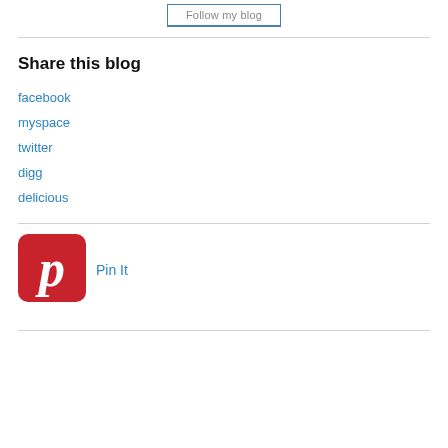Follow my blog
Share this blog
facebook
myspace
twitter
digg
delicious
[Figure (logo): Pinterest logo icon, red rounded square with white stylized P]
Pin It